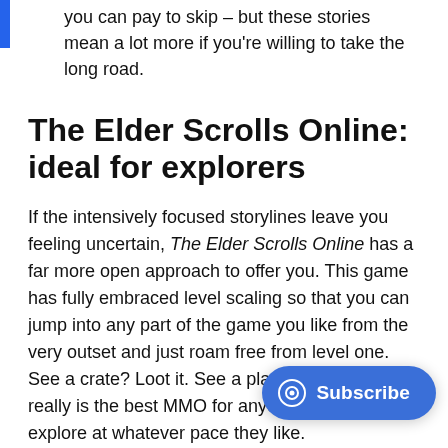you can pay to skip – but these stories mean a lot more if you're willing to take the long road.
The Elder Scrolls Online: ideal for explorers
If the intensively focused storylines leave you feeling uncertain, The Elder Scrolls Online has a far more open approach to offer you. This game has fully embraced level scaling so that you can jump into any part of the game you like from the very outset and just roam free from level one. See a crate? Loot it. See a plant? Farm it. This really is the best MMO for anyone just wanting to explore at whatever pace they like.
There's still hundreds of hours of stor… through here, and by engaging with st… you earn precious skill points to improve key abilities –